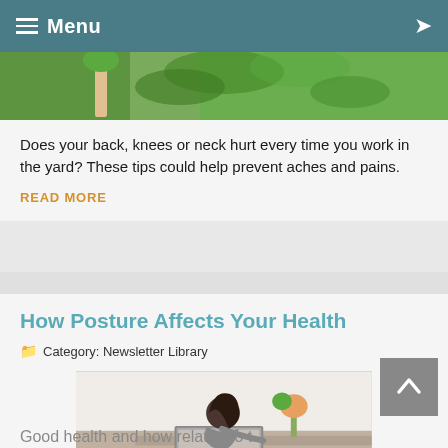Menu
[Figure (photo): Person working in a garden or yard with plants]
Does your back, knees or neck hurt every time you work in the yard? These tips could help prevent aches and pains.
READ MORE
How Posture Affects Your Health
Category: Newsletter Library
[Figure (photo): Woman with dark hair hunched over a laptop computer at a desk, poor posture]
Good health and how related to t...